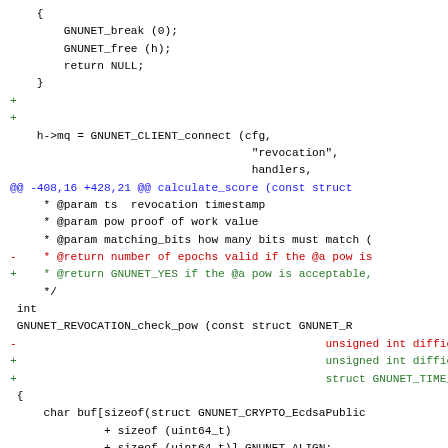Code diff showing changes to GNUnet revocation functions including GNUNET_CLIENT_connect and GNUNET_REVOCATION_check_pow